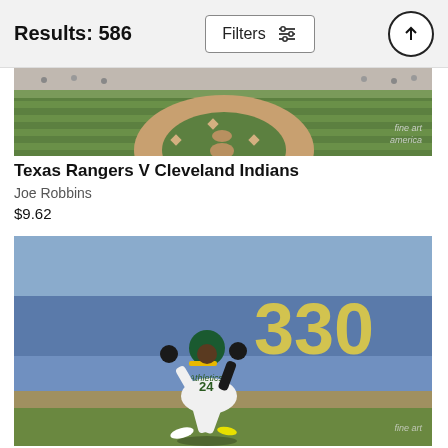Results: 586
Filters
[Figure (photo): Aerial/wide-angle view of a baseball field (Texas Rangers V Cleveland Indians game), with diamond, outfield, and crowd visible. Fine Art America watermark in bottom right.]
Texas Rangers V Cleveland Indians
Joe Robbins
$9.62
[Figure (photo): A baseball player wearing Oakland Athletics uniform number 24 running/sprinting on the base path during a game. Blue outfield wall with yellow '330' distance marker visible in background.]